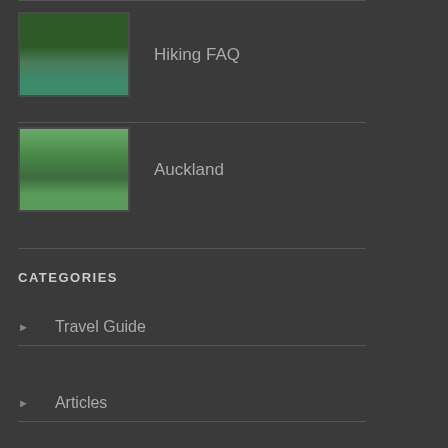[Figure (photo): Thumbnail image of a natural scene with trees and water, labeled Hiking FAQ]
Hiking FAQ
[Figure (photo): Thumbnail image of a coastal scene with green vegetation and clouds, labeled Auckland]
Auckland
CATEGORIES
Travel Guide
Articles
Hiking Tracks
Directory
Maps